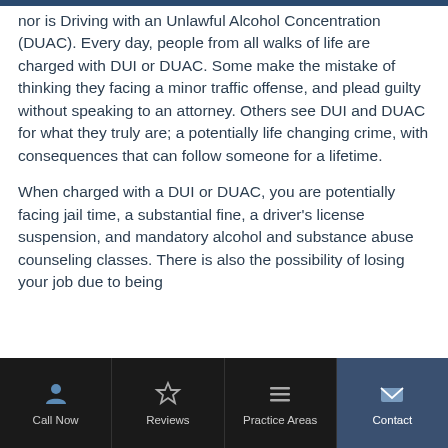nor is Driving with an Unlawful Alcohol Concentration (DUAC). Every day, people from all walks of life are charged with DUI or DUAC. Some make the mistake of thinking they facing a minor traffic offense, and plead guilty without speaking to an attorney. Others see DUI and DUAC for what they truly are; a potentially life changing crime, with consequences that can follow someone for a lifetime.
When charged with a DUI or DUAC, you are potentially facing jail time, a substantial fine, a driver's license suspension, and mandatory alcohol and substance abuse counseling classes. There is also the possibility of losing your job due to being
Call Now | Reviews | Practice Areas | Contact